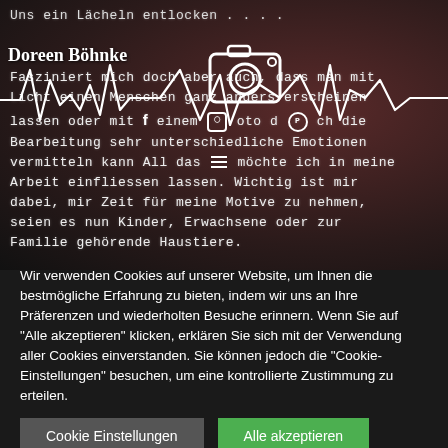[Figure (screenshot): Website screenshot showing photographer Doreen Böhnke's page with dark background, handwritten-style German text about photography, social media icons (camera, Facebook, Instagram, Pinterest, hamburger menu), and a waveform/heartbeat graphic overlay.]
Wir verwenden Cookies auf unserer Website, um Ihnen die bestmögliche Erfahrung zu bieten, indem wir uns an Ihre Präferenzen und wiederholten Besuche erinnern. Wenn Sie auf "Alle akzeptieren" klicken, erklären Sie sich mit der Verwendung aller Cookies einverstanden. Sie können jedoch die "Cookie-Einstellungen" besuchen, um eine kontrollierte Zustimmung zu erteilen.
Cookie Einstellungen
Alle akzeptieren